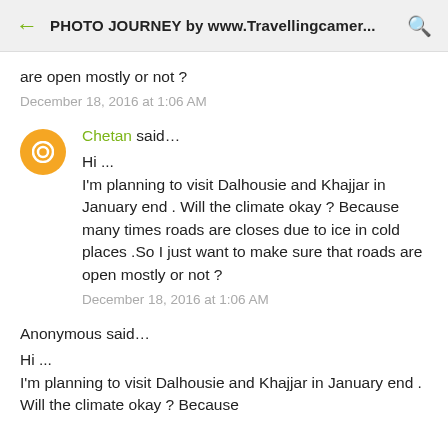PHOTO JOURNEY by www.Travellingcamer...
are open mostly or not ?
December 18, 2016 at 1:06 AM
Chetan said…
Hi ...
I'm planning to visit Dalhousie and Khajjar in January end . Will the climate okay ? Because many times roads are closes due to ice in cold places .So I just want to make sure that roads are open mostly or not ?
December 18, 2016 at 1:06 AM
Anonymous said…
Hi ...
I'm planning to visit Dalhousie and Khajjar in January end . Will the climate okay ? Because